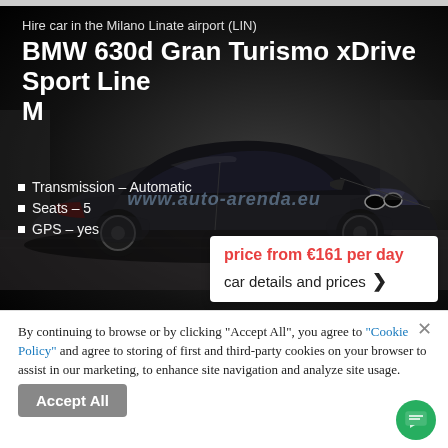Hire car in the Milano Linate airport (LIN)
BMW 630d Gran Turismo xDrive Sport Line M
[Figure (photo): Black BMW 630d Gran Turismo xDrive Sport Line M parked outdoors, photographed at an angle showing front and side, dark color, with watermark www.auto-arenda.eu]
Transmission – Automatic
Seats – 5
GPS – yes
price from €161 per day
car details and prices ❯
By continuing to browse or by clicking "Accept All", you agree to "Cookie Policy" and agree to storing of first and third-party cookies on your browser to assist in our marketing, to enhance site navigation and analyze site usage.
Accept All